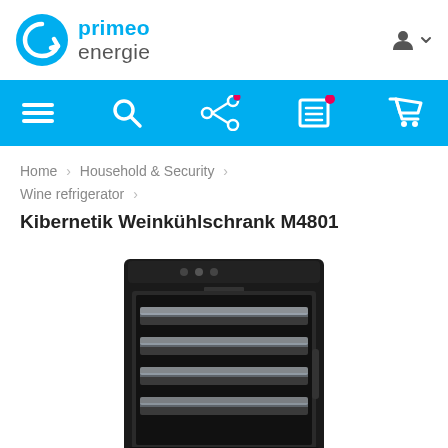[Figure (logo): Primeo Energie logo with cyan circular arrow icon and text 'primeo energie']
[Figure (screenshot): Website navigation bar in cyan/blue with hamburger menu, search icon, compare icon, wishlist icon, and cart icon]
Home > Household & Security > Wine refrigerator >
Kibernetik Weinkühlschrank M4801
[Figure (photo): Wine refrigerator / wine cooler with black casing, glass door showing multiple wine bottle shelves with LED lighting]